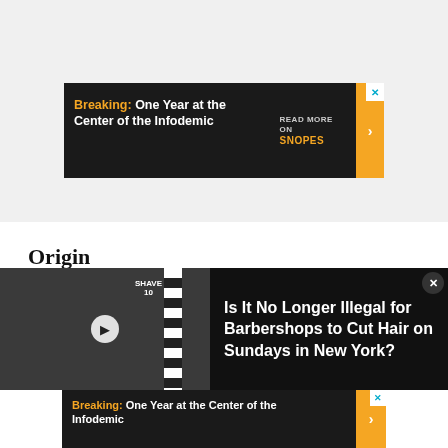[Figure (screenshot): Top gray background area of a webpage]
[Figure (screenshot): Advertisement banner: Breaking: One Year at the Center of the Infodemic. READ MORE ON SNOPES with arrow button.]
Origin
[Figure (screenshot): Black bar with vintage barbershop black-and-white photo (barber pole visible), play button overlay, and text: Is It No Longer Illegal for Barbershops to Cut Hair on Sundays in New York? Close (X) button top right.]
[Figure (screenshot): Bottom advertisement banner: Breaking: One Year at the Center of the Infodemic with yellow arrow button and X close button.]